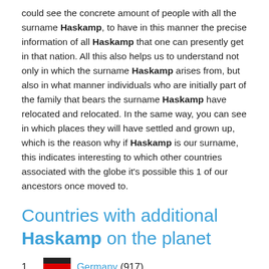could see the concrete amount of people with all the surname Haskamp, to have in this manner the precise information of all Haskamp that one can presently get in that nation. All this also helps us to understand not only in which the surname Haskamp arises from, but also in what manner individuals who are initially part of the family that bears the surname Haskamp have relocated and relocated. In the same way, you can see in which places they will have settled and grown up, which is the reason why if Haskamp is our surname, this indicates interesting to which other countries associated with the globe it's possible this 1 of our ancestors once moved to.
Countries with additional Haskamp on the planet
Germany (917)
United States (461)